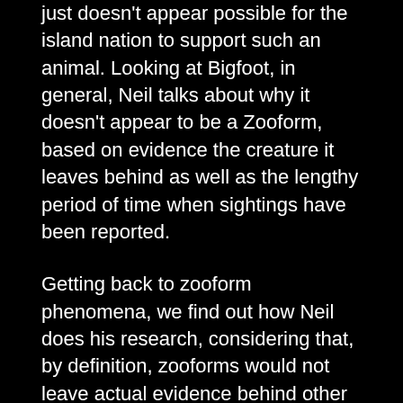just doesn't appear possible for the island nation to support such an animal. Looking at Bigfoot, in general, Neil talks about why it doesn't appear to be a Zooform, based on evidence the creature it leaves behind as well as the lengthy period of time when sightings have been reported.
Getting back to zooform phenomena, we find out how Neil does his research, considering that, by definition, zooforms would not leave actual evidence behind other than sighting reports. Neil details how Zooform reports are often similar to poltergeist activity as far as witness demographics are concerned. We then have Neil make a distinction between what creatures he thinks are cryptids and which are likely Zooforms. He also reflects on how the ocean is so vast that it is likely the place where 'surprise' cryptids may lurk.
We then turn to the London Underground and talk about what may be lurking down there as well as the possibility that it is the lair of desperate homeless people who need a place to live. Neil then discusses the possibilities for creatures, either out of place animals or cryptids, living in the River Thames. The conversation then turns towards how America has a unique cultural history, since it was populated for thousands of years by Native Americans, but the arrival of Europeans and birth of the United States resulted in the country having a proverbially 'reset' history. Neil then contrasts that with the UK, where their